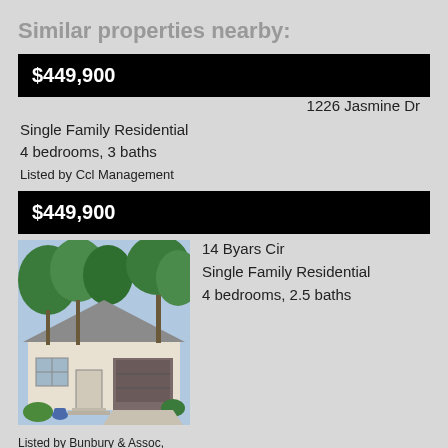Similar properties nearby:
$449,900
1226 Jasmine Dr
Single Family Residential
4 bedrooms, 3 baths
Listed by Ccl Management
$449,900
[Figure (photo): Exterior photo of a single family residential home at 14 Byars Cir, showing brick and siding facade with trees in foreground]
14 Byars Cir
Single Family Residential
4 bedrooms, 2.5 baths
Listed by Bunbury & Assoc, Realtors